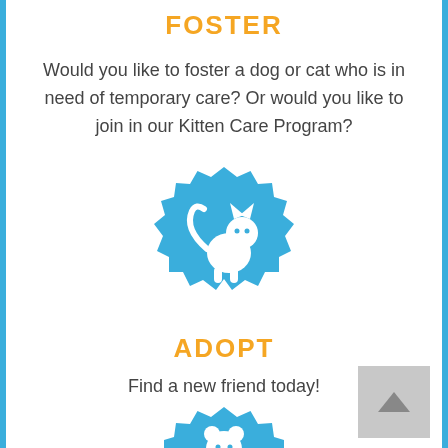FOSTER
Would you like to foster a dog or cat who is in need of temporary care? Or would you like to join in our Kitten Care Program?
[Figure (illustration): Blue badge/seal icon with a white cat silhouette sitting inside]
ADOPT
Find a new friend today!
[Figure (illustration): Blue badge/seal icon partially visible at bottom of page with a white animal silhouette]